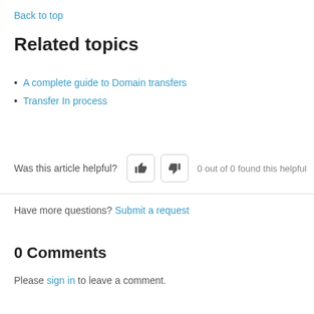Back to top
Related topics
A complete guide to Domain transfers
Transfer In process
Was this article helpful?  0 out of 0 found this helpful
Have more questions? Submit a request
0 Comments
Please sign in to leave a comment.